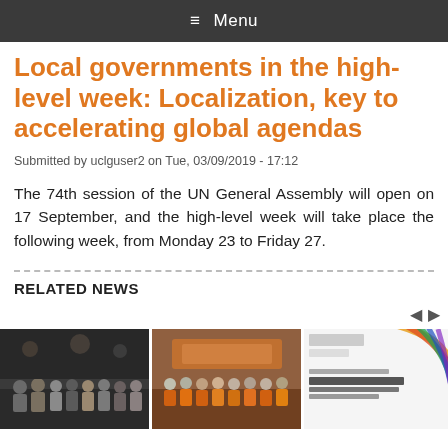≡ Menu
Local governments in the high-level week: Localization, key to accelerating global agendas
Submitted by uclguser2 on Tue, 03/09/2019 - 17:12
The 74th session of the UN General Assembly will open on 17 September, and the high-level week will take place the following week, from Monday 23 to Friday 27.
RELATED NEWS
[Figure (photo): Group photo of people in a meeting room]
[Figure (photo): Group photo with people in orange shirts]
[Figure (photo): UN High-Level Political Forum - Local and Regional Governments' Day promotional graphic with colorful arcs]